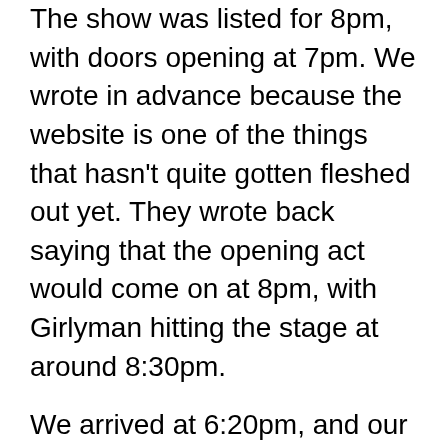The show was listed for 8pm, with doors opening at 7pm. We wrote in advance because the website is one of the things that hasn't quite gotten fleshed out yet. They wrote back saying that the opening act would come on at 8pm, with Girlyman hitting the stage at around 8:30pm.
We arrived at 6:20pm, and our guests arrived at 6:30, exactly when we asked them to. The doors to the cafe were already open (very welcome, since it was drizzling outside). We tried multiple times to order dinner, and each time were politely told that they wouldn't be taking orders until roughly 7pm (fine, that's when the doors were officially supposed to open).
They did indeed take our order at 7pm. Even